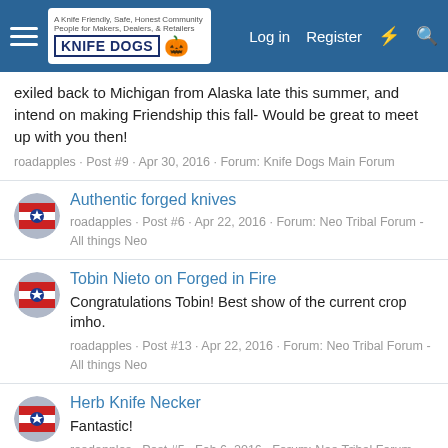Knife Dogs - Log in | Register
exiled back to Michigan from Alaska late this summer, and intend on making Friendship this fall- Would be great to meet up with you then!
roadapples · Post #9 · Apr 30, 2016 · Forum: Knife Dogs Main Forum
Authentic forged knives
roadapples · Post #6 · Apr 22, 2016 · Forum: Neo Tribal Forum - All things Neo
Tobin Nieto on Forged in Fire
Congratulations Tobin! Best show of the current crop imho.
roadapples · Post #13 · Apr 22, 2016 · Forum: Neo Tribal Forum - All things Neo
Herb Knife Necker
Fantastic!
roadapples · Post #5 · Feb 6, 2016 · Forum: Neo Tribal Forum - All things Neo